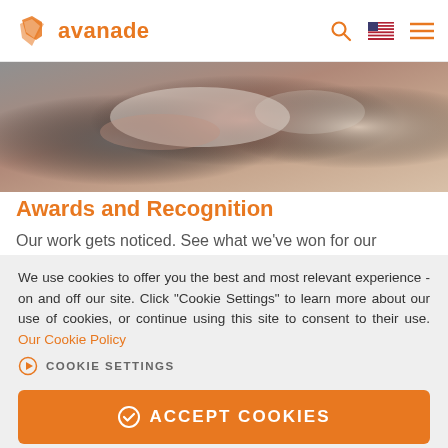avanade
[Figure (photo): Hero image showing people collaborating or in a meeting, with blurred background in warm tones]
Awards and Recognition
Our work gets noticed. See what we've won for our
We use cookies to offer you the best and most relevant experience - on and off our site. Click "Cookie Settings" to learn more about our use of cookies, or continue using this site to consent to their use. Our Cookie Policy
COOKIE SETTINGS
ACCEPT COOKIES